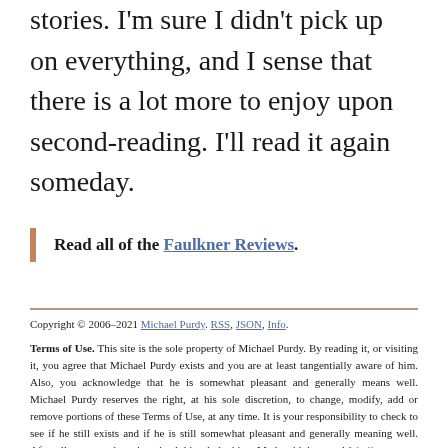stories. I'm sure I didn't pick up on everything, and I sense that there is a lot more to enjoy upon second-reading. I'll read it again someday.
Read all of the Faulkner Reviews.
Copyright © 2006–2021 Michael Purdy. RSS, JSON, Info.

Terms of Use. This site is the sole property of Michael Purdy. By reading it, or visiting it, you agree that Michael Purdy exists and you are at least tangentially aware of him. Also, you acknowledge that he is somewhat pleasant and generally means well. Michael Purdy reserves the right, at his sole discretion, to change, modify, add or remove portions of these Terms of Use, at any time. It is your responsibility to check to see if he still exists and if he is still somewhat pleasant and generally meaning well. After all, you may have imagined this whole thing. Made with love and Jekyll.